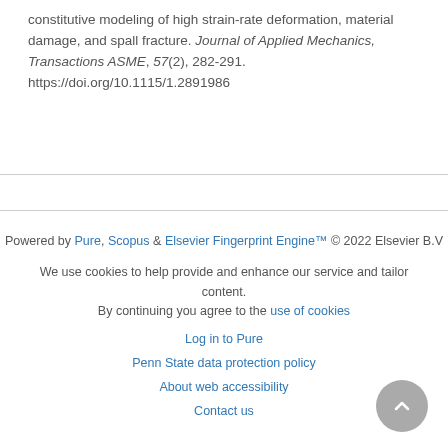constitutive modeling of high strain-rate deformation, material damage, and spall fracture. Journal of Applied Mechanics, Transactions ASME, 57(2), 282-291. https://doi.org/10.1115/1.2891986
Powered by Pure, Scopus & Elsevier Fingerprint Engine™ © 2022 Elsevier B.V
We use cookies to help provide and enhance our service and tailor content. By continuing you agree to the use of cookies
Log in to Pure
Penn State data protection policy
About web accessibility
Contact us